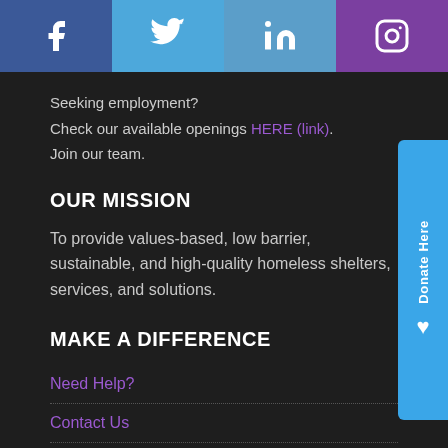[Figure (other): Social media icon bar with Facebook (blue), Twitter (light blue), LinkedIn (medium blue), Instagram (purple)]
Seeking employment?
Check our available openings HERE (link).
Join our team.
OUR MISSION
To provide values-based, low barrier, sustainable, and high-quality homeless shelters, services, and solutions.
MAKE A DIFFERENCE
Need Help?
Contact Us
Volunteer Here
OUR VALUES (partial)
[Figure (other): Donate Here button/sidebar on the right edge, blue with white vertical text and heart icon]